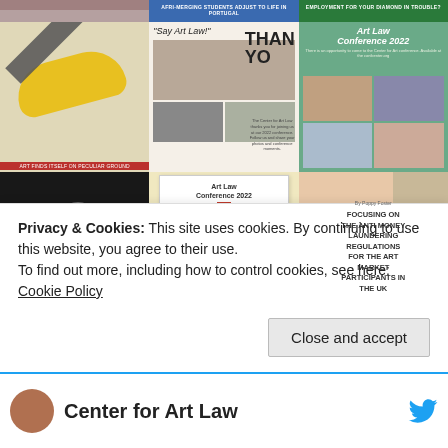[Figure (photo): 3x3 grid of thumbnail images related to Art Law, including a banana taped to wall, Say Art Law conference photos, Conference 2022 panel, silver goblet, Art Law Conference 2022 registration card with Statue of Liberty, and Anti-Money Laundering article cover]
Privacy & Cookies: This site uses cookies. By continuing to use this website, you agree to their use.
To find out more, including how to control cookies, see here: Cookie Policy
Close and accept
Center for Art Law